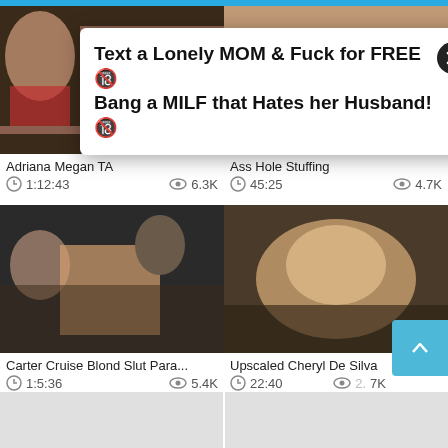[Figure (screenshot): Ad popup overlay: 'Text a Lonely MOM & Fuck for FREE / Bang a MILF that Hates her Husband!' with close button]
[Figure (photo): Video thumbnail: Adriana Megan TA]
Adriana Megan TA
1:12:43   6.3K
[Figure (photo): Video thumbnail: Ass Hole Stuffing]
Ass Hole Stuffing
45:25   4.7K
[Figure (photo): Video thumbnail: Carter Cruise Blond Slut Para...]
Carter Cruise Blond Slut Para...
1:5:36   5.4K
[Figure (photo): Video thumbnail: Upscaled Cheryl De Silva]
Upscaled Cheryl De Silva
22:40   2.7K